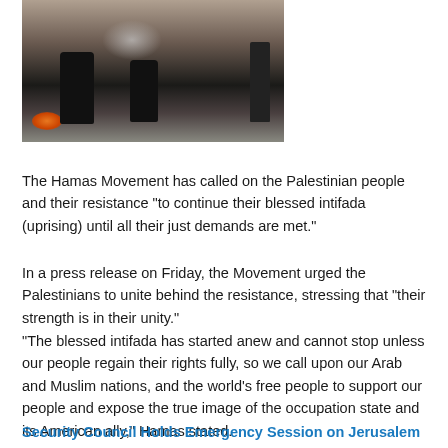[Figure (photo): Silhouettes of people walking amid smoke and fire, appearing to be a protest or conflict scene]
The Hamas Movement has called on the Palestinian people and their resistance “to continue their blessed intifada (uprising) until all their just demands are met.”
In a press release on Friday, the Movement urged the Palestinians to unite behind the resistance, stressing that “their strength is in their unity.”
“The blessed intifada has started anew and cannot stop unless our people regain their rights fully, so we call upon our Arab and Muslim nations, and the world’s free people to support our people and expose the true image of the occupation state and its American ally,” Hamas stated.
Security Council Holds Emergency Session on Jerusalem